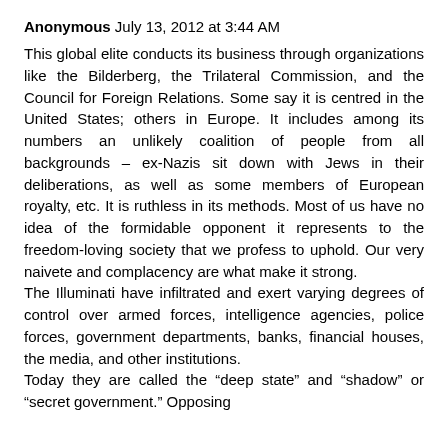Anonymous July 13, 2012 at 3:44 AM
This global elite conducts its business through organizations like the Bilderberg, the Trilateral Commission, and the Council for Foreign Relations. Some say it is centred in the United States; others in Europe. It includes among its numbers an unlikely coalition of people from all backgrounds – ex-Nazis sit down with Jews in their deliberations, as well as some members of European royalty, etc. It is ruthless in its methods. Most of us have no idea of the formidable opponent it represents to the freedom-loving society that we profess to uphold. Our very naivete and complacency are what make it strong.
The Illuminati have infiltrated and exert varying degrees of control over armed forces, intelligence agencies, police forces, government departments, banks, financial houses, the media, and other institutions.
Today they are called the “deep state” and “shadow” or “secret government.” Opposing